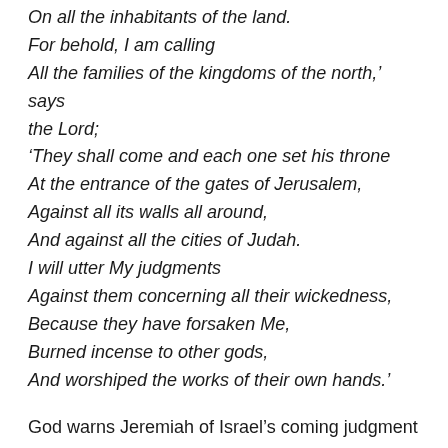On all the inhabitants of the land.
For behold, I am calling
All the families of the kingdoms of the north,' says the Lord;
'They shall come and each one set his throne
At the entrance of the gates of Jerusalem,
Against all its walls all around,
And against all the cities of Judah.
I will utter My judgments
Against them concerning all their wickedness,
Because they have forsaken Me,
Burned incense to other gods,
And worshiped the works of their own hands.'
God warns Jeremiah of Israel's coming judgment and the reasons for it. The Lord would call a great army from the